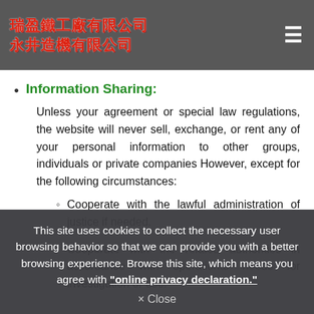瑞盈鐵工廠有限公司 永井造機有限公司
Information Sharing:
Unless your agreement or special law regulations, the website will never sell, exchange, or rent any of your personal information to other groups, individuals or private companies However, except for the following circumstances:
Cooperate with the lawful administration of justice if needed.
Cooperate with the related authorities in accordance with operational needs for investigation or use.
This site uses cookies to collect the necessary user browsing behavior so that we can provide you with a better browsing experience. Browse this site, which means you agree with "online privacy declaration."
× Close